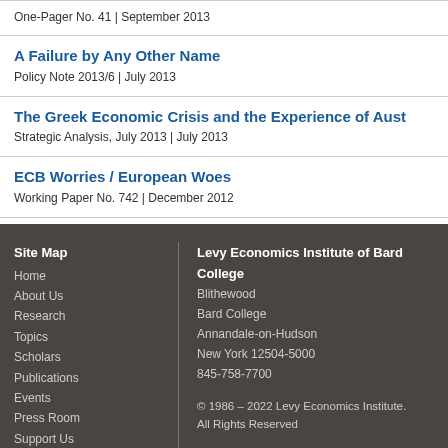One-Pager No. 41 | September 2013
A Failure by Any Other Name
Policy Note 2013/6 | July 2013
The Greek Economic Crisis and the Experience of Aust
Strategic Analysis, July 2013 | July 2013
ECB Worries / European Woes
Working Paper No. 742 | December 2012
Site Map
Home
About Us
Research
Topics
Scholars
Publications
Events
Press Room
Support Us
Bard College

Levy Economics Institute of Bard College
Blithewood
Bard College
Annandale-on-Hudson
New York 12504-5000
845-758-7700

© 1986 – 2022 Levy Economics Institute. All Rights Reserved